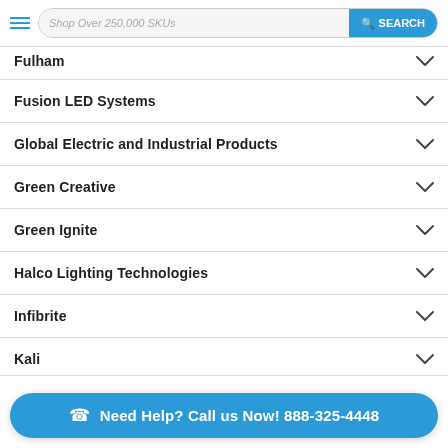Shop Over 250,000 SKUs — SEARCH
Fulham
Fusion LED Systems
Global Electric and Industrial Products
Green Creative
Green Ignite
Halco Lighting Technologies
Infibrite
Kali
Need Help? Call us Now! 888-325-4448